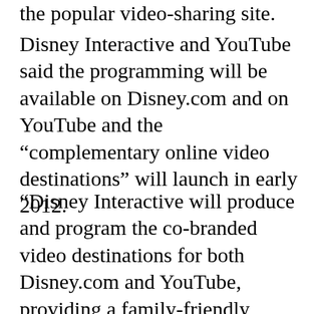the popular video-sharing site.
Disney Interactive and YouTube said the programming will be available on Disney.com and on YouTube and the “complementary online video destinations” will launch in early 2012.
“Disney Interactive will produce and program the co-branded video destinations for both Disney.com and YouTube, providing a family-friendly experience for viewers across both platforms — Disney and YouTube